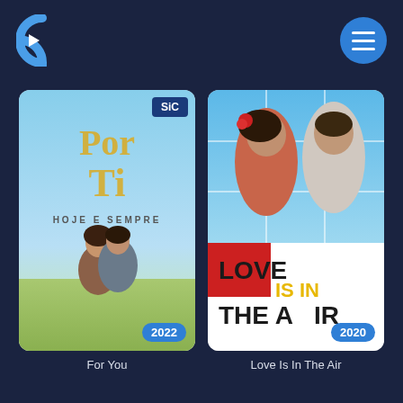[Figure (logo): Curved C logo with play triangle, streaming app logo]
[Figure (illustration): Hamburger menu button, blue circle with three horizontal lines]
[Figure (photo): TV show poster: Por Ti - Hoje E Sempre, couple embracing outdoors, SIC channel logo, year 2022 badge]
For You
[Figure (photo): TV show poster: Love Is In The Air, man and woman posing, grid overlay graphic design, year 2020 badge]
Love Is In The Air